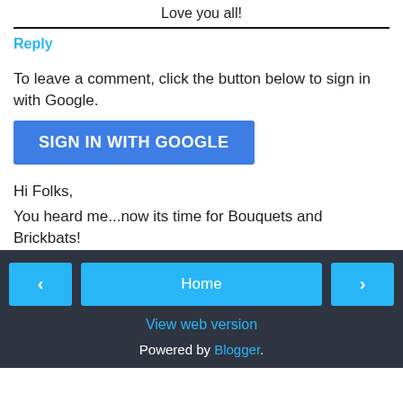Love you all!
Reply
To leave a comment, click the button below to sign in with Google.
[Figure (other): SIGN IN WITH GOOGLE button — blue rounded rectangle with white text]
Hi Folks,
You heard me...now its time for Bouquets and Brickbats!
[Figure (other): Navigation footer with left arrow button, Home button, right arrow button, View web version link, and Powered by Blogger text]